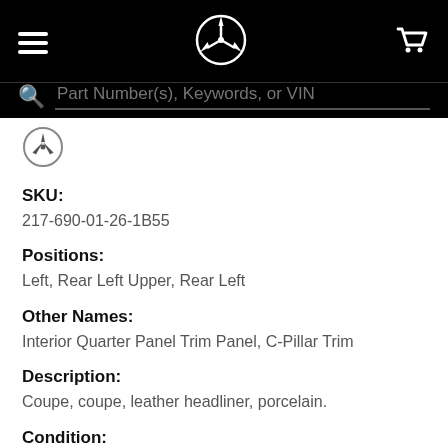[Figure (screenshot): Mercedes-Benz website header with hamburger menu, Mercedes-Benz logo (three-pointed star), and cart icon on black background, plus search bar with 'Part Number(s), Keywords, or VIN' placeholder text]
[Figure (logo): Mercedes-Benz three-pointed star logo, small, in content area]
SKU:
217-690-01-26-1B55
Positions:
Left, Rear Left Upper, Rear Left
Other Names:
Interior Quarter Panel Trim Panel, C-Pillar Trim
Description:
Coupe, coupe, leather headliner, porcelain.
Condition:
New